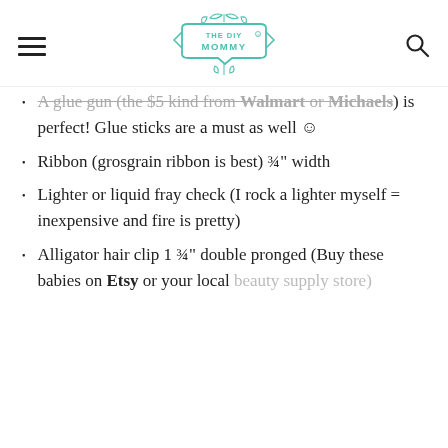THE DIY MOMMY
A glue gun (the $5 kind from Walmart or Michaels) is perfect! Glue sticks are a must as well ☺
Ribbon (grosgrain ribbon is best) ¾" width
Lighter or liquid fray check (I rock a lighter myself = inexpensive and fire is pretty)
Alligator hair clip 1 ¾" double pronged (Buy these babies on Etsy or your local beauty supply store)